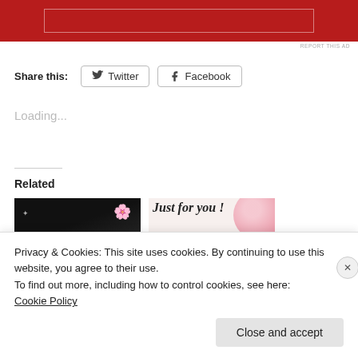[Figure (other): Red advertisement banner with white inner border rectangle at top of page]
REPORT THIS AD
Share this:
Twitter
Facebook
Loading...
Related
[Figure (photo): Dark background photo with flowers and figures]
[Figure (illustration): Just for you! Enter to raffle and win - with pink rose graphic]
Privacy & Cookies: This site uses cookies. By continuing to use this website, you agree to their use.
To find out more, including how to control cookies, see here:
Cookie Policy
Close and accept